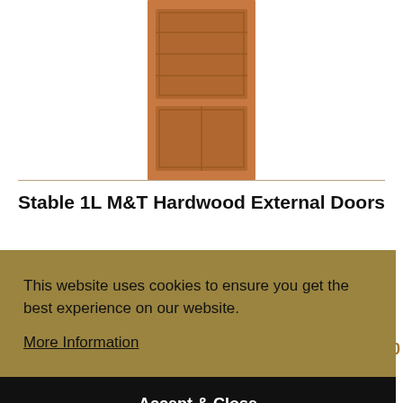[Figure (photo): Hardwood external door product image - wooden panel door shown from front]
Stable 1L M&T Hardwood External Doors
HARDWOOD
UNGLAZED
LPD DOORS
View Product
From £175.50
This website uses cookies to ensure you get the best experience on our website.
More Information
Accept & Close